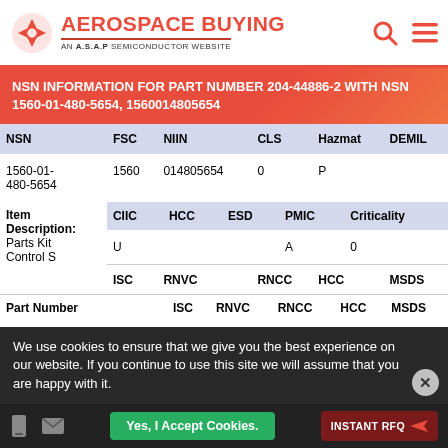AEROSPACE BUYING — AN A.S.A.P SEMICONDUCTOR WEBSITE
NSN INFORMATION FOR PART NUMBER 204-44886-2 WITH NSN 1560-01-480-5654, 1560014805654
| NSN | FSC | NIIN | CLS | Hazmat | DEMIL |
| --- | --- | --- | --- | --- | --- |
| 1560-01-480-5654 | 1560 | 014805654 | 0 | P |  |
| Item Description: Parts Kit Control S | CIIC | HCC | ESD | PMIC | Criticality |
|  | U |  |  | A | 0 |
| Part Number | ISC | RNVC | RNCC | HCC | MSDS |
We use cookies to ensure that we give you the best experience on our website. If you continue to use this site we will assume that you are happy with it.